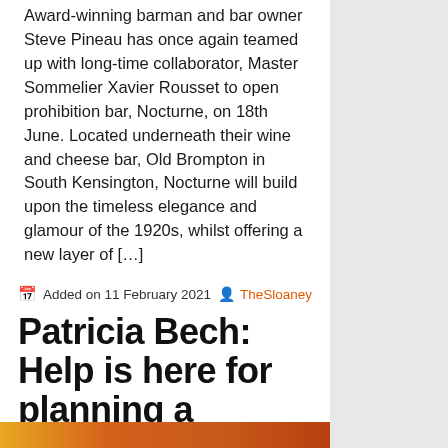Award-winning barman and bar owner Steve Pineau has once again teamed up with long-time collaborator, Master Sommelier Xavier Rousset to open prohibition bar, Nocturne, on 18th June. Located underneath their wine and cheese bar, Old Brompton in South Kensington, Nocturne will build upon the timeless elegance and glamour of the 1920s, whilst offering a new layer of […]
Added on 11 February 2021   TheSloaney
Patricia Bech: Help is here for planning a staycation (when the time is right!)
[Figure (photo): Bottom strip of a photo showing warm orange/amber tones, partially visible at the bottom of the page]